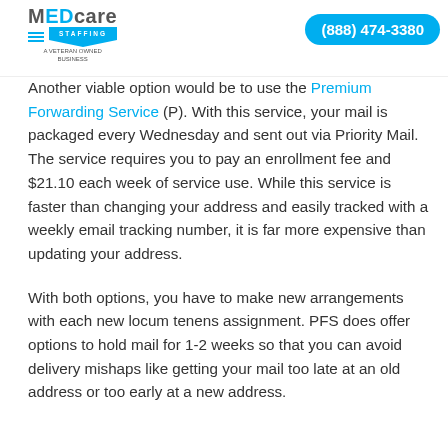MedCare Staffing — (888) 474-3380
Another viable option would be to use the Premium Forwarding Service (PFS). With this service, your mail is packaged every Wednesday and sent out via Priority Mail. The service requires you to pay an enrollment fee and $21.10 each week of service use. While this service is faster than changing your address and easily tracked with a weekly email tracking number, it is far more expensive than updating your address.
With both options, you have to make new arrangements with each new locum tenens assignment. PFS does offer options to hold mail for 1-2 weeks so that you can avoid delivery mishaps like getting your mail too late at an old address or too early at a new address.